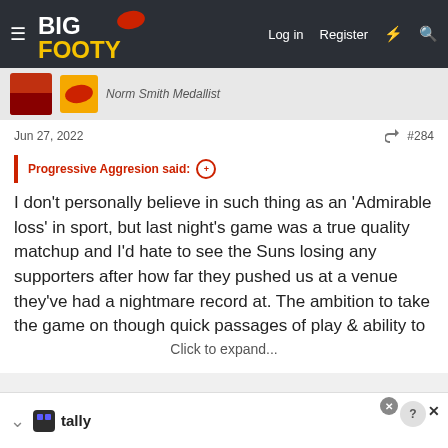BigFooty — Log in | Register
Norm Smith Medallist
Jun 27, 2022  #284
Progressive Aggresion said:
I don't personally believe in such thing as an 'Admirable loss' in sport, but last night's game was a true quality matchup and I'd hate to see the Suns losing any supporters after how far they pushed us at a venue they've had a nightmare record at. The ambition to take the game on though quick passages of play & ability to
Click to expand...